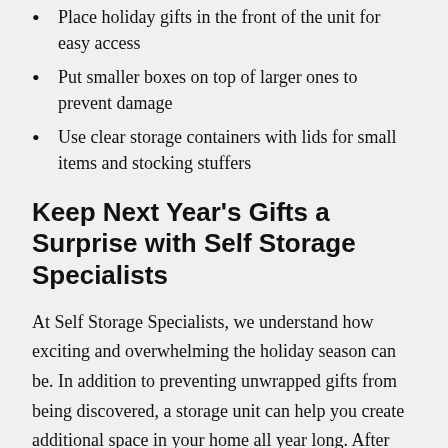Place holiday gifts in the front of the unit for easy access
Put smaller boxes on top of larger ones to prevent damage
Use clear storage containers with lids for small items and stocking stuffers
Keep Next Year's Gifts a Surprise with Self Storage Specialists
At Self Storage Specialists, we understand how exciting and overwhelming the holiday season can be. In addition to preventing unwrapped gifts from being discovered, a storage unit can help you create additional space in your home all year long. After you've unwrapped the last present and taken down the lights, store your decorations and leftover gift supplies for next year.
Nip your loved ones' gift-hunting efforts in the bud next